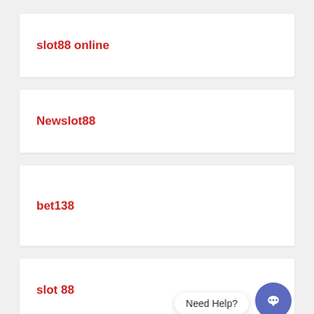slot88 online
Newslot88
bet138
slot 88